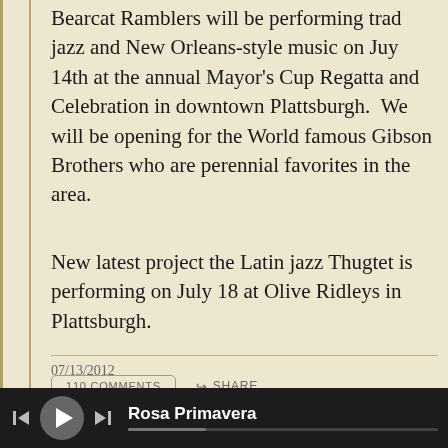Bearcat Ramblers will be performing trad jazz and New Orleans-style music on Juy 14th at the annual Mayor's Cup Regatta and Celebration in downtown Plattsburgh.  We will be opening for the World famous Gibson Brothers who are perennial favorites in the area.
New latest project the Latin jazz Thugtet is performing on July 18 at Olive Ridleys in Plattsburgh.
07/13/2012
110 COMMENTS
SHARE
Rosa Primavera